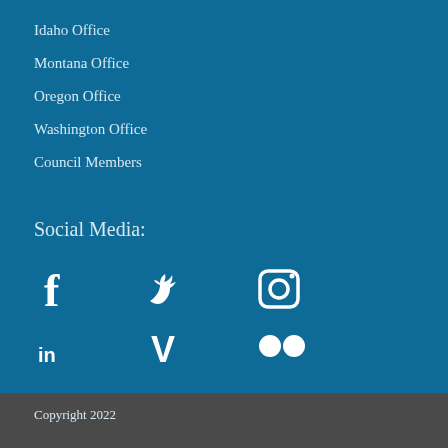Idaho Office
Montana Office
Oregon Office
Washington Office
Council Members
Social Media:
[Figure (illustration): Social media icons: Facebook, Twitter, Instagram, LinkedIn, Vimeo, Flickr]
Copyright 2022